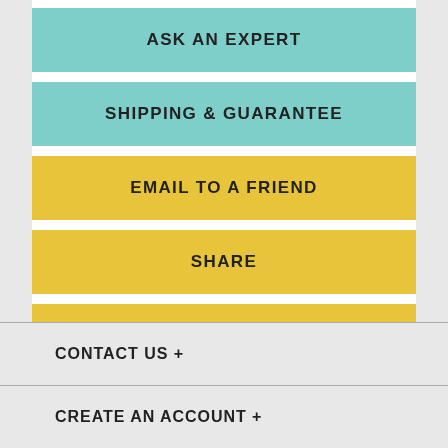ASK AN EXPERT
SHIPPING & GUARANTEE
EMAIL TO A FRIEND
SHARE
PRINT
This Book has been Viewed 207 Time(s).
CONTACT US +
CREATE AN ACCOUNT +